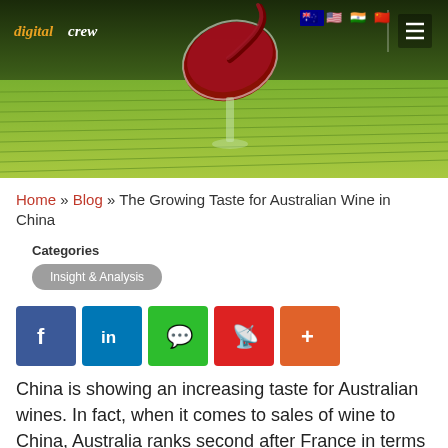[Figure (photo): Hero image of a red wine glass being filled over a green vineyard landscape, with Digital Crew logo, country flags (Australia, USA, India, China, EU), and hamburger menu in header.]
Home » Blog » The Growing Taste for Australian Wine in China
Categories
Insight & Analysis
[Figure (infographic): Social sharing buttons: Facebook (blue), LinkedIn (blue), WeChat (green), Weibo (red), More/Plus (orange-red)]
China is showing an increasing taste for Australian wines. In fact, when it comes to sales of wine to China, Australia ranks second after France in terms